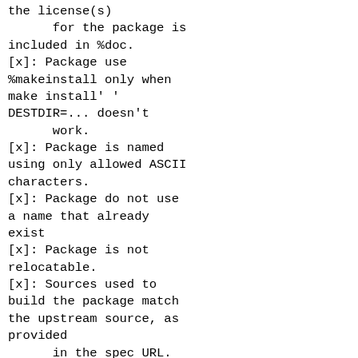the license(s)
      for the package is included in %doc.
[x]: Package use %makeinstall only when make install' ' DESTDIR=... doesn't
      work.
[x]: Package is named using only allowed ASCII characters.
[x]: Package do not use a name that already exist
[x]: Package is not relocatable.
[x]: Sources used to build the package match the upstream source, as provided
      in the spec URL.
[x]: Spec file name must match the spec package %{name}, in the format
      %{name}.spec.
[x]: File names are valid UTF-8.
[x]: Packages must not store files under /srv, /opt or /usr/local